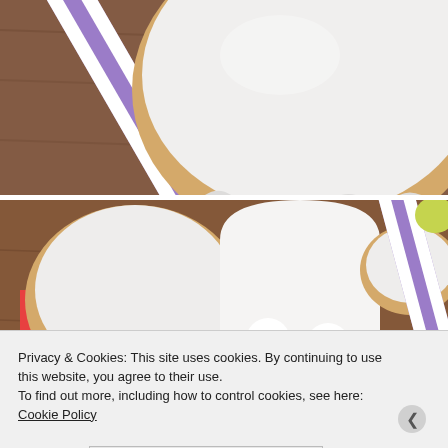[Figure (photo): Close-up photo of a round sugar cookie with white royal icing, placed on a wooden surface next to a purple and white striped paper straw.]
[Figure (photo): Photo of Halloween sugar cookies decorated with white royal icing including a ghost-shaped cookie with candy eyes, round cookies with orange and white striped icing, and purple/white striped paper straws on a wooden surface.]
Privacy & Cookies: This site uses cookies. By continuing to use this website, you agree to their use.
To find out more, including how to control cookies, see here: Cookie Policy
Close and accept